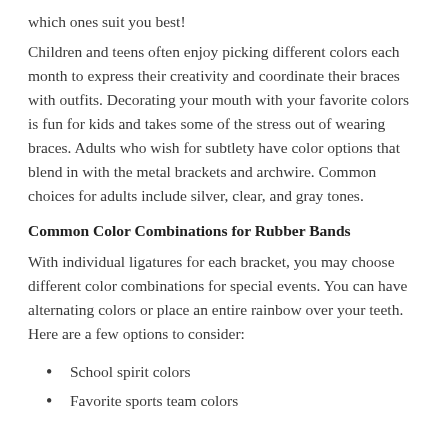which ones suit you best!
Children and teens often enjoy picking different colors each month to express their creativity and coordinate their braces with outfits. Decorating your mouth with your favorite colors is fun for kids and takes some of the stress out of wearing braces. Adults who wish for subtlety have color options that blend in with the metal brackets and archwire. Common choices for adults include silver, clear, and gray tones.
Common Color Combinations for Rubber Bands
With individual ligatures for each bracket, you may choose different color combinations for special events. You can have alternating colors or place an entire rainbow over your teeth. Here are a few options to consider:
School spirit colors
Favorite sports team colors